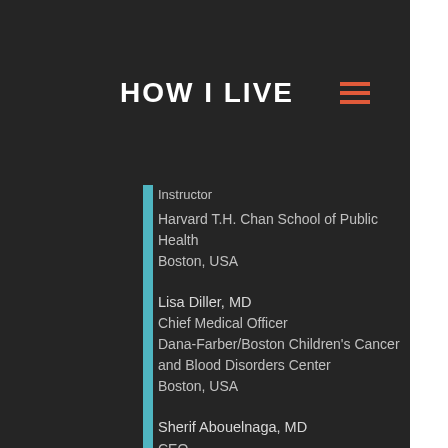HOW I LIVE
Instructor
Harvard T.H. Chan School of Public Health
Boston, USA
Lisa Diller, MD
Chief Medical Officer
Dana-Farber/Boston Children's Cancer and Blood Disorders Center
Boston, USA
Sherif Abouelnaga, MD
CEO
Children's Cancer Hospital Egypt 57357
Cairo, Egypt
Roberto Franklin Vasquez, MD